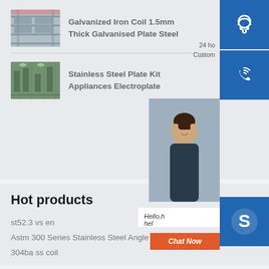Galvanized Iron Coil 1.5mm Thick Galvanised Plate Steel
[Figure (photo): Factory shelving with steel coils/plates]
24 ho
Custom
[Figure (other): Customer support headset icon button (blue square)]
[Figure (other): Phone/call icon button (blue square)]
Stainless Steel Plate Kit Appliances Electroplate
[Figure (photo): Factory interior with green-tinted steel plates]
[Figure (photo): Woman customer service representative photo]
Hello,h
hel
Chat Now
[Figure (other): Skype icon button (blue square with S)]
Hot products
st52.3 vs en
Astm 300 Series Stainless Steel Angle Bar
304ba ss coil
[Figure (other): Back to top circular button (teal/cyan with up chevron)]